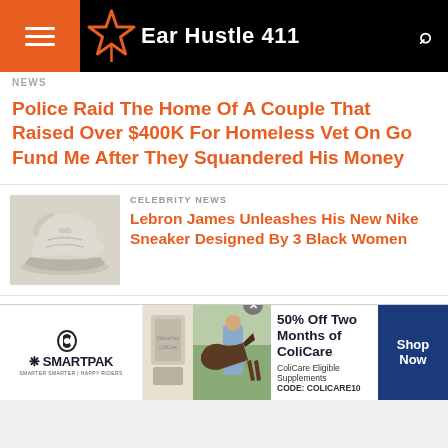Ear Hustle 411
NEWS
Police Raid The Home Of A Couple That Raised Over $400K For Homeless Vet On Go Fund Me After They Squandered His Money
[Figure (photo): Nike sneaker shoe, cream/beige colored high-top]
CELEBRITY NEWS
Lebron James Unleashes His New Nike Sneaker Designed By 3 Black Women
[Figure (photo): Store sign reading ALL CHOOSING TO, ALL NIKE 1/2 P, JUST DOING I]
EAR HUSTLE
Store In Colorado Offering 50% Off Nike Product In Protest On Kapernick
[Figure (infographic): SmartPak advertisement: 50% Off Two Months of ColiCare. ColiCare Eligible Supplements. CODE: COLICARE10. Shop Now.]